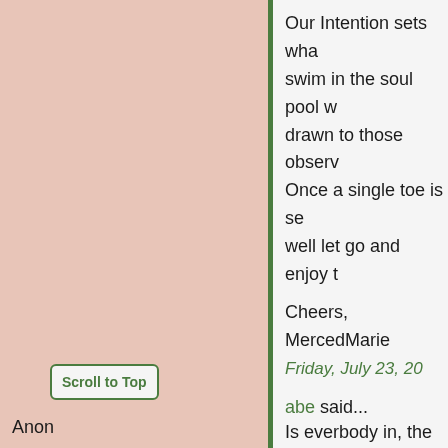Our Intention sets wha... swim in the soul pool w... drawn to those observ... Once a single toe is se... well let go and enjoy t...
Cheers,
MercedMarie
Friday, July 23, 20...
abe said...
Is everbody in, the ce...
Friday, July 23, 20...
Scroll to Top
Anon...